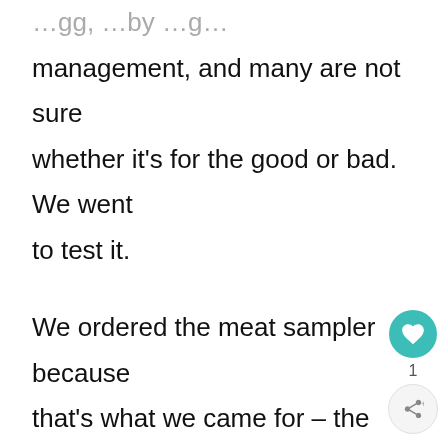…gg, …by …g… management, and many are not sure whether it's for the good or bad. We went to test it.

We ordered the meat sampler because that's what we came for – the meat. The servers were courteous and friendly. After reading mixed reviews, we had come prepared for the worst. We were disappointed. The baby back ribs were so